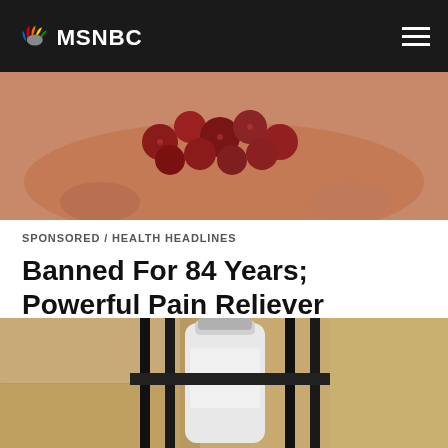MSNBC
[Figure (photo): Close-up of red berries or seeds held in a hand, blurry background]
SPONSORED / HEALTH HEADLINES
Banned For 84 Years; Powerful Pain Reliever Legalized In Virginia
[Figure (photo): A white bottle or container viewed through black iron bars or a fence, sandy/stone background]